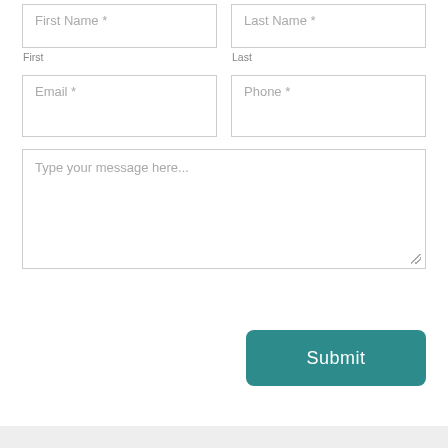First Name *
Last Name *
First
Last
Email *
Phone *
Type your message here...
Submit